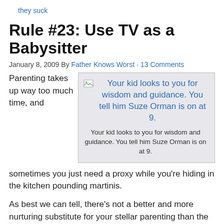they suck
Rule #23: Use TV as a Babysitter
January 8, 2009 By Father Knows Worst · 13 Comments
Parenting takes up way too much time, and
[Figure (illustration): An image placeholder showing a broken image icon and a blue linked caption: 'Your kid looks to you for wisdom and guidance. You tell him Suze Orman is on at 9.' Below is a caption text: 'Your kid looks to you for wisdom and guidance. You tell him Suze Orman is on at 9.']
sometimes you just need a proxy while you're hiding in the kitchen pounding martinis.
As best we can tell, there's not a better and more nurturing substitute for your stellar parenting than the almighty television.